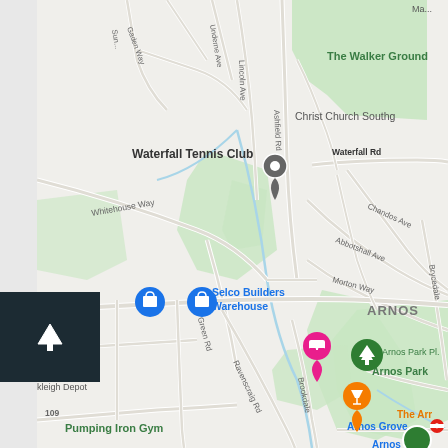[Figure (map): Google Maps screenshot showing an area of North London including Waterfall Tennis Club, The Walker Ground, Christ Church Southgate, Selco Builders Warehouse, Arnos Park, Arnos Grove station, Pumping Iron Gym, and various street names including Whitehouse Way, Lincoln Ave, Waterfall Rd, Dale Green Rd, Chandos Ave, Abbotshall Ave, Morton Way, Brycedale, Ravenscraig Rd, Brookdale. Map markers include a grey location pin at Waterfall Tennis Club, blue shopping bag icons for Selco Builders Warehouse, pink hotel icon, green tree icon for Arnos Park Pl, orange cocktail glass icon for The Arr, and green circle for Arnos Pool.]